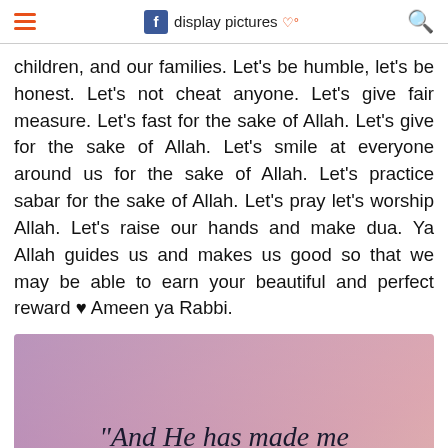display pictures
children, and our families. Let's be humble, let's be honest. Let's not cheat anyone. Let's give fair measure. Let's fast for the sake of Allah. Let's give for the sake of Allah. Let's smile at everyone around us for the sake of Allah. Let's practice sabar for the sake of Allah. Let's pray let's worship Allah. Let's raise our hands and make dua. Ya Allah guides us and makes us good so that we may be able to earn your beautiful and perfect reward ♥ Ameen ya Rabbi.
[Figure (illustration): A gradient background image transitioning from purple/pink tones with the quote text: "And He has made me blessed wherever I am..." in dark serif italic font.]